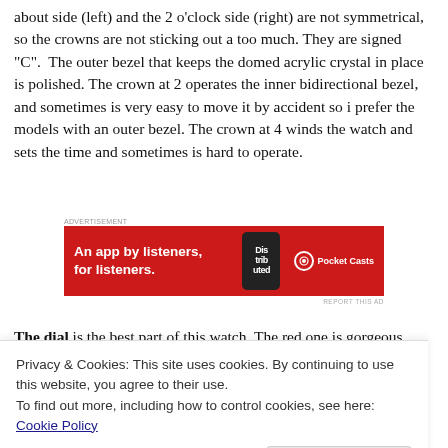about side (left) and the 2 o'clock side (right) are not symmetrical, so the crowns are not sticking out a too much. They are signed "C". The outer bezel that keeps the domed acrylic crystal in place is polished. The crown at 2 operates the inner bidirectional bezel, and sometimes is very easy to move it by accident so i prefer the models with an outer bezel. The crown at 4 winds the watch and sets the time and sometimes is hard to operate.
[Figure (other): Pocket Casts advertisement banner: red background with text 'An app by listeners, for listeners.' and a phone image showing the app, with Pocket Casts logo.]
The dial is the best part of this watch. The red one is gorgeous
Privacy & Cookies: This site uses cookies. By continuing to use this website, you agree to their use.
To find out more, including how to control cookies, see here: Cookie Policy